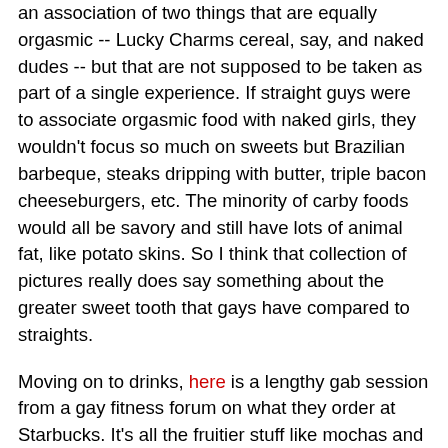an association of two things that are equally orgasmic -- Lucky Charms cereal, say, and naked dudes -- but that are not supposed to be taken as part of a single experience. If straight guys were to associate orgasmic food with naked girls, they wouldn't focus so much on sweets but Brazilian barbeque, steaks dripping with butter, triple bacon cheeseburgers, etc. The minority of carby foods would all be savory and still have lots of animal fat, like potato skins. So I think that collection of pictures really does say something about the greater sweet tooth that gays have compared to straights.
Moving on to drinks, here is a lengthy gab session from a gay fitness forum on what they order at Starbucks. It's all the fruitier stuff like mochas and lattes, or going further by adding syrup, sugar, or other sweeteners. I only counted one who would even go for a cappuccino, although there are a few who like their espresso...straight. Considering that these are gays who are supposed to be health-conscious, you can imagine how much of a sweet-tooth the non-gym-rat gays must have. Great quote from the one sane gay of the bunch: